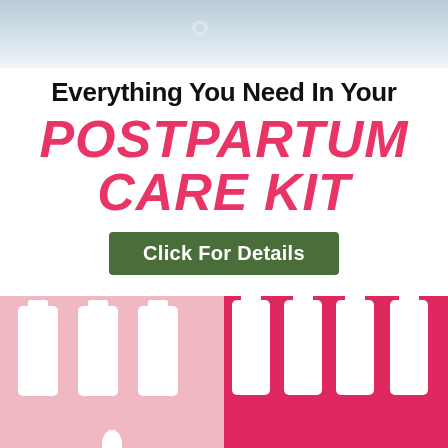[Figure (photo): Top portion showing a light blue/grey gradient background, partial view of a product]
Everything You Need In Your
POSTPARTUM CARE KIT
Click For Details
[Figure (photo): Bottom section showing white squeeze bottles/tubes on pink and deep pink/red backgrounds]